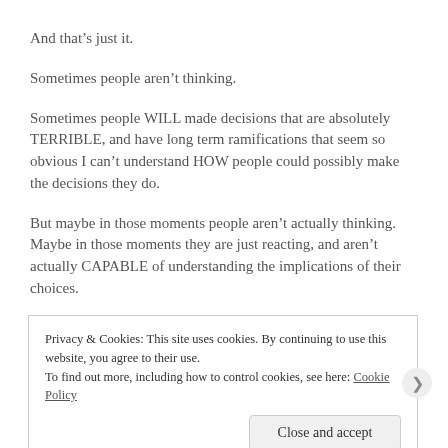And that's just it.
Sometimes people aren't thinking.
Sometimes people WILL made decisions that are absolutely TERRIBLE, and have long term ramifications that seem so obvious I can't understand HOW people could possibly make the decisions they do.
But maybe in those moments people aren't actually thinking.  Maybe in those moments they are just reacting, and aren't actually CAPABLE of understanding the implications of their choices.
Privacy & Cookies: This site uses cookies. By continuing to use this website, you agree to their use.
To find out more, including how to control cookies, see here: Cookie Policy
Close and accept